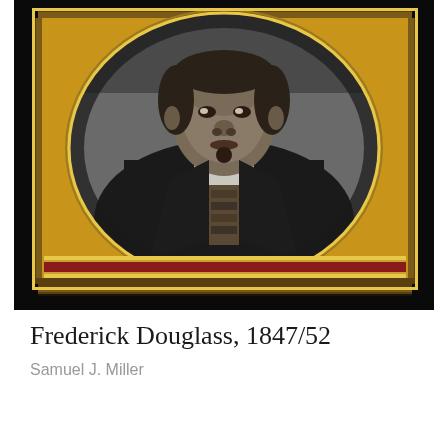[Figure (photo): A daguerreotype portrait photograph of Frederick Douglass circa 1847-1852, by Samuel J. Miller. The photograph shows a formal bust portrait in an oval format set within an ornate gold and red case frame. The subject wears a dark jacket with a white shirt and patterned cravat. The image has the characteristic silver-grey tones of a daguerreotype.]
Frederick Douglass, 1847/52
Samuel J. Miller